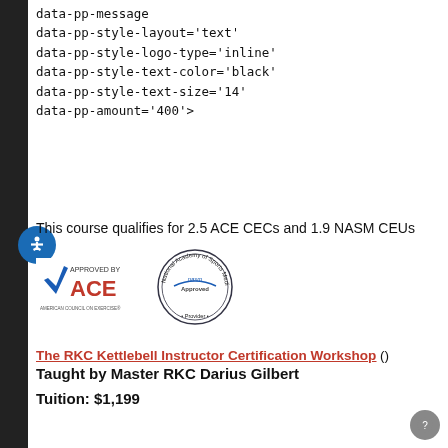data-pp-message
data-pp-style-layout='text'
data-pp-style-logo-type='inline'
data-pp-style-text-color='black'
data-pp-style-text-size='14'
data-pp-amount='400'>
This course qualifies for 2.5 ACE CECs and 1.9 NASM CEUs
[Figure (logo): ACE - American Council on Exercise 'Approved By' logo]
[Figure (logo): NASM - National Academy of Sports Medicine 'Approved' stamp logo]
The RKC Kettlebell Instructor Certification Workshop () Taught by Master RKC Darius Gilbert
Tuition: $1,199